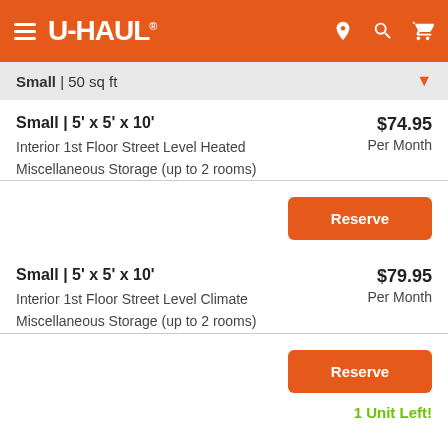U-HAUL
Small | 50 sq ft
Small | 5' x 5' x 10'
Interior 1st Floor Street Level Heated
Miscellaneous Storage (up to 2 rooms)
$74.95 Per Month
Reserve
Small | 5' x 5' x 10'
Interior 1st Floor Street Level Climate
Miscellaneous Storage (up to 2 rooms)
$79.95 Per Month
Reserve
1 Unit Left!